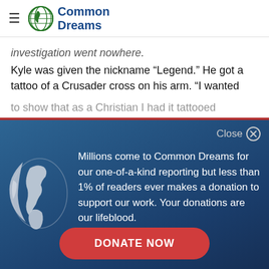Common Dreams
investigation went nowhere.
Kyle was given the nickname “Legend.” He got a tattoo of a Crusader cross on his arm. “I wanted
[Figure (screenshot): Common Dreams donation overlay modal with globe logo, text about readership and donations, and a DONATE NOW button]
Millions come to Common Dreams for our one-of-a-kind reporting but less than 1% of readers ever makes a donation to support our work. Your donations are our lifeblood.